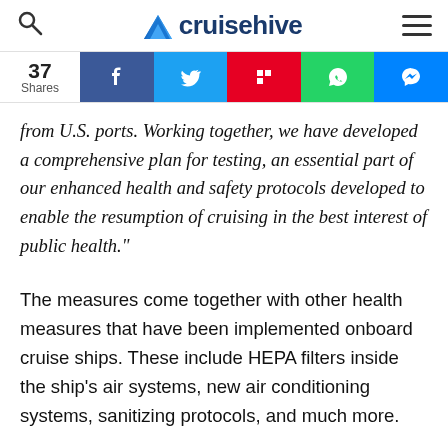cruisehive
37 Shares
from U.S. ports. Working together, we have developed a comprehensive plan for testing, an essential part of our enhanced health and safety protocols developed to enable the resumption of cruising in the best interest of public health.”
The measures come together with other health measures that have been implemented onboard cruise ships. These include HEPA filters inside the ship’s air systems, new air conditioning systems, sanitizing protocols, and much more.